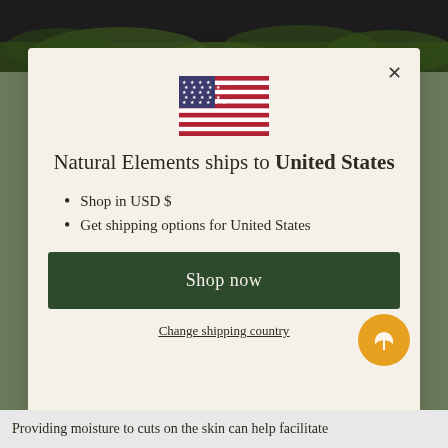[Figure (photo): Dark green nature/plant background image at top of page]
[Figure (illustration): US flag SVG icon centered in modal]
Natural Elements ships to United States
Shop in USD $
Get shipping options for United States
Shop now
Change shipping country
Providing moisture to cuts on the skin can help facilitate